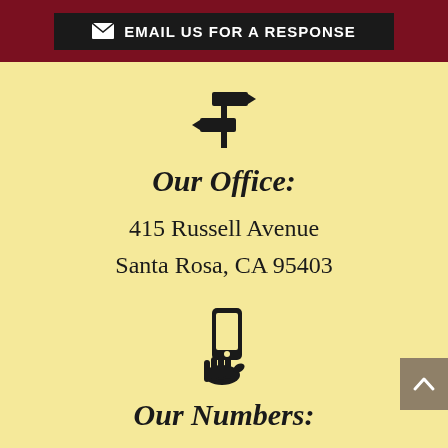[Figure (other): Dark button with email icon and text EMAIL US FOR A RESPONSE on dark red background]
[Figure (other): Black directional signpost icon pointing left and right]
Our Office:
415 Russell Avenue
Santa Rosa, CA 95403
[Figure (other): Black hand holding a mobile phone icon]
Our Numbers:
Phone: 707-575-1040
Fax: 707-575-3826